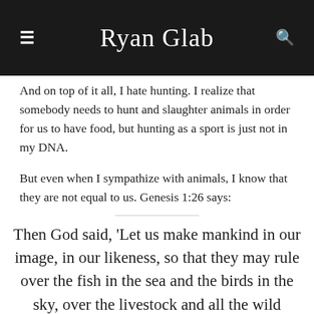Ryan Glab
And on top of it all, I hate hunting. I realize that somebody needs to hunt and slaughter animals in order for us to have food, but hunting as a sport is just not in my DNA.
But even when I sympathize with animals, I know that they are not equal to us. Genesis 1:26 says:
Then God said, 'Let us make mankind in our image, in our likeness, so that they may rule over the fish in the sea and the birds in the sky, over the livestock and all the wild animals